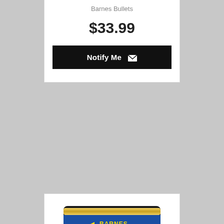Barnes Bullets
$33.99
Notify Me
[Figure (photo): Barnes Tipped TSX bullet box — blue box with gold trim, red stylized text 'TIPPED TSX' and tagline 'Tipped Triple-Shock X Bullet']
Rifle Tipped TSX 30303
Barnes Bullets
$63.99